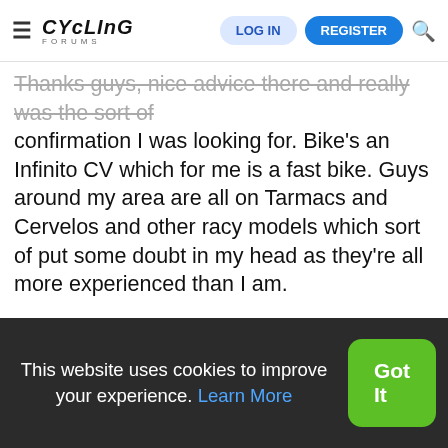Cycling Forums — LOG IN | REGISTER
Thanks guys, nice advice there and really was the sort of confirmation I was looking for. Bike's an Infinito CV which for me is a fast bike. Guys around my area are all on Tarmacs and Cervelos and other racy models which sort of put some doubt in my head as they're all more experienced than I am.

Going to work on lowering the stem a little every few weeks 😮
Uawadall
Well-Known Member
This website uses cookies to improve your experience. Learn More
Got It